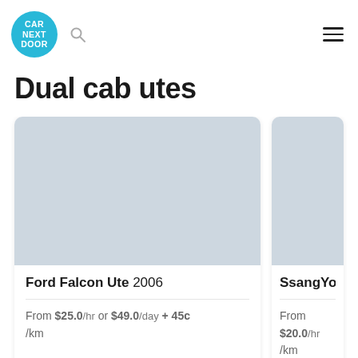CAR NEXT DOOR
Dual cab utes
[Figure (photo): Car listing card image placeholder (light blue-grey) for Ford Falcon Ute 2006]
Ford Falcon Ute 2006
From $25.0 /hr or $49.0 /day + 45c /km
[Figure (photo): Car listing card image placeholder (light blue-grey) for SsangYong A]
SsangYong A
From $20.0 /hr /km